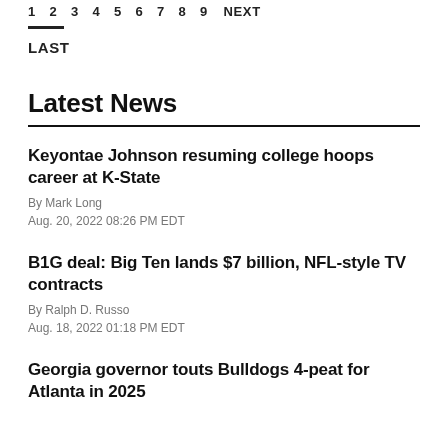1 2 3 4 5 6 7 8 9 NEXT
LAST
Latest News
Keyontae Johnson resuming college hoops career at K-State
By Mark Long
Aug. 20, 2022 08:26 PM EDT
B1G deal: Big Ten lands $7 billion, NFL-style TV contracts
By Ralph D. Russo
Aug. 18, 2022 01:18 PM EDT
Georgia governor touts Bulldogs 4-peat for Atlanta in 2025